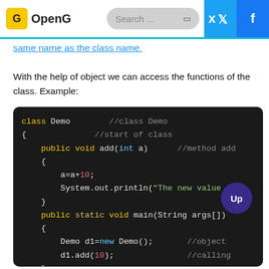OpenG | Search ...
same name as the class name.

With the help of object we can access the functions of the class. Example:
[Figure (screenshot): Java code block on dark background showing class Demo with method add(int a) and main method with object creation and method call]